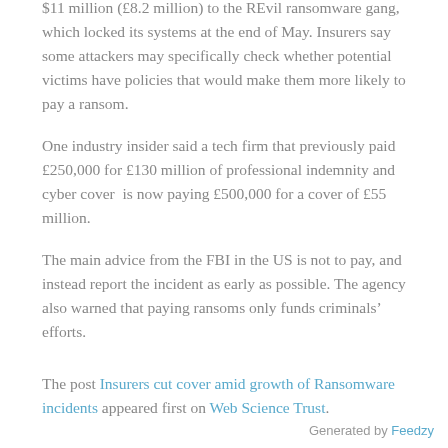$11 million (£8.2 million) to the REvil ransomware gang, which locked its systems at the end of May. Insurers say some attackers may specifically check whether potential victims have policies that would make them more likely to pay a ransom.
One industry insider said a tech firm that previously paid £250,000 for £130 million of professional indemnity and cyber cover  is now paying £500,000 for a cover of £55 million.
The main advice from the FBI in the US is not to pay, and instead report the incident as early as possible. The agency also warned that paying ransoms only funds criminals' efforts.
The post Insurers cut cover amid growth of Ransomware incidents appeared first on Web Science Trust.